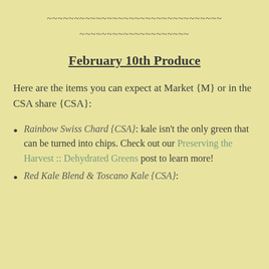~~~~~~~~~~~~~~~~~~~~~~~~~~~~~~~~
~~~~~~~~~~~~~~~~~~~~
February 10th Produce
Here are the items you can expect at Market {M} or in the CSA share {CSA}:
Rainbow Swiss Chard {CSA}: kale isn't the only green that can be turned into chips. Check out our Preserving the Harvest :: Dehydrated Greens post to learn more!
Red Kale Blend & Toscano Kale {CSA}: